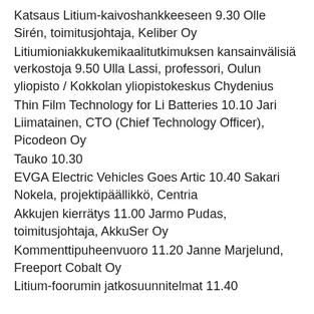Katsaus Litium-kaivoshankkeeseen 9.30 Olle Sirén, toimitusjohtaja, Keliber Oy
Litiumioniakkukemikaalitutkimuksen kansainvälisiä verkostoja 9.50 Ulla Lassi, professori, Oulun yliopisto / Kokkolan yliopistokeskus Chydenius
Thin Film Technology for Li Batteries 10.10 Jari Liimatainen, CTO (Chief Technology Officer), Picodeon Oy
Tauko 10.30
EVGA Electric Vehicles Goes Artic 10.40 Sakari Nokela, projektipäällikkö, Centria
Akkujen kierrätys 11.00 Jarmo Pudas, toimitusjohtaja, AkkuSer Oy
Kommenttipuheenvuoro 11.20 Janne Marjelund, Freeport Cobalt Oy
Litium-foorumin jatkosuunnitelmat 11.40